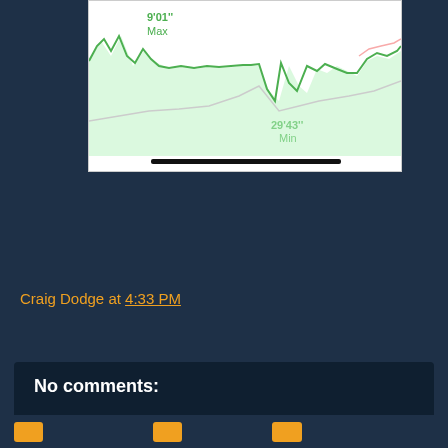[Figure (continuous-plot): A running pace chart showing min/mile pace over time. Green line with shaded area showing pace fluctuations. Max label 9'01'' shown at top left, Min label 29'43'' shown at bottom right. A gray reference line also visible.]
Craig Dodge at 4:33 PM
Share
No comments:
Post a Comment